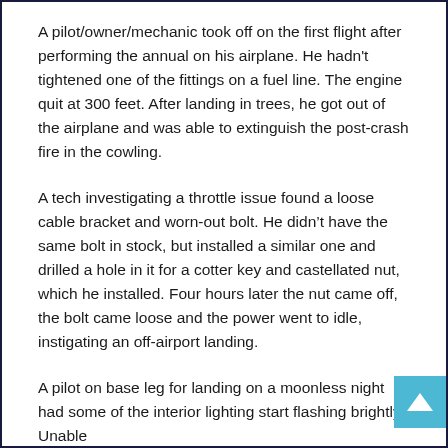A pilot/owner/mechanic took off on the first flight after performing the annual on his airplane. He hadn't tightened one of the fittings on a fuel line. The engine quit at 300 feet. After landing in trees, he got out of the airplane and was able to extinguish the post-crash fire in the cowling.
A tech investigating a throttle issue found a loose cable bracket and worn-out bolt. He didn't have the same bolt in stock, but installed a similar one and drilled a hole in it for a cotter key and castellated nut, which he installed. Four hours later the nut came off, the bolt came loose and the power went to idle, instigating an off-airport landing.
A pilot on base leg for landing on a moonless night had some of the interior lighting start flashing brightly. Unable